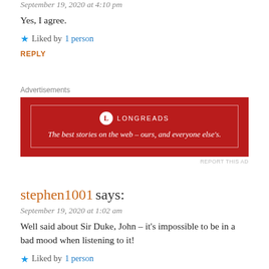September 19, 2020 at 4:10 pm
Yes, I agree.
★ Liked by 1 person
REPLY
[Figure (advertisement): Longreads advertisement banner: dark red background with white inner border, Longreads logo and tagline 'The best stories on the web – ours, and everyone else's.']
stephen1001 says:
September 19, 2020 at 1:02 am
Well said about Sir Duke, John – it's impossible to be in a bad mood when listening to it!
★ Liked by 1 person
REPLY
aloud2oldmusic says: